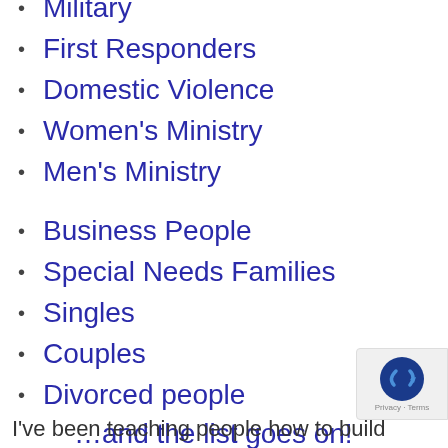Military
First Responders
Domestic Violence
Women's Ministry
Men's Ministry
Business People
Special Needs Families
Singles
Couples
Divorced people
…and the list goes on!
I've been teaching people how to build